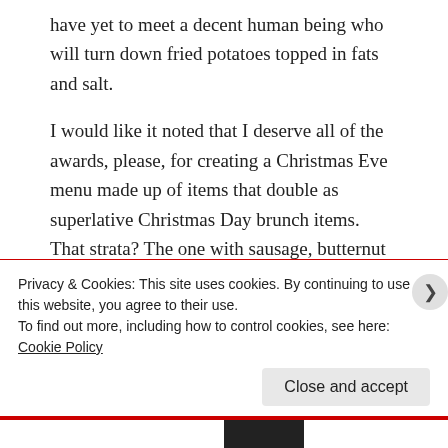have yet to meet a decent human being who will turn down fried potatoes topped in fats and salt.
I would like it noted that I deserve all of the awards, please, for creating a Christmas Eve menu made up of items that double as superlative Christmas Day brunch items. That strata? The one with sausage, butternut squash, kale, feta, roasted red peppers, and sun-dried tomatoes? Basically just a breakfast
Privacy & Cookies: This site uses cookies. By continuing to use this website, you agree to their use.
To find out more, including how to control cookies, see here: Cookie Policy